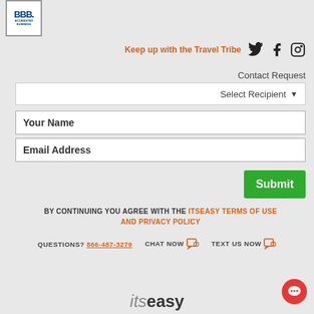[Figure (logo): BBB Accredited Business shield logo]
Keep up with the Travel Tribe
[Figure (illustration): Twitter, Facebook, Instagram social media icons]
Contact Request
Select Recipient
Your Name
Email Address
Submit
BY CONTINUING YOU AGREE WITH THE ITSEASY TERMS OF USE AND PRIVACY POLICY
QUESTIONS? 866-487-3279   CHAT NOW   TEXT US NOW
[Figure (logo): itseasy logo at the bottom]
[Figure (illustration): Red chat bubble button in bottom right corner]